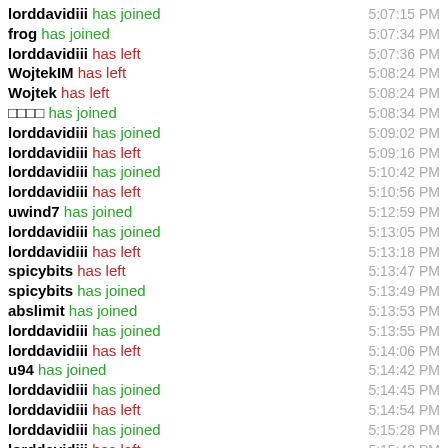lorddavidiii has joined  5:07:15 PM
frog has joined  5:07:34 PM
lorddavidiii has left  5:07:36 PM
WojtekIM has left  5:08:24 PM
Wojtek has left  5:08:24 PM
□□□□ has joined  5:08:34 PM
lorddavidiii has joined  5:09:02 PM
lorddavidiii has left  5:09:16 PM
lorddavidiii has joined  5:10:42 PM
lorddavidiii has left  5:10:56 PM
uwind7 has joined  5:12:59 PM
lorddavidiii has joined  5:13:05 PM
lorddavidiii has left  5:13:18 PM
spicybits has left  5:13:47 PM
spicybits has joined  5:13:49 PM
abslimit has joined  5:13:53 PM
lorddavidiii has joined  5:13:55 PM
lorddavidiii has left  5:14:06 PM
u94 has joined  5:14:42 PM
lorddavidiii has joined  5:14:45 PM
lorddavidiii has left  5:14:54 PM
lorddavidiii has joined  5:15:28 PM
lorddavidiii has left  5:15:43 PM
lorddavidiii has joined  5:16:21 PM
lorddavidiii has left  5:16:35 PM